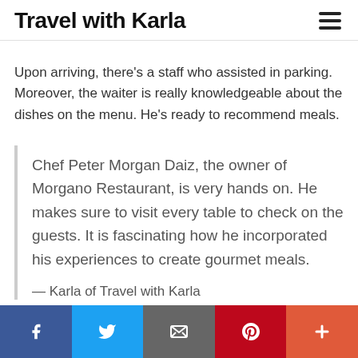Travel with Karla
Upon arriving, there's a staff who assisted in parking. Moreover, the waiter is really knowledgeable about the dishes on the menu. He's ready to recommend meals.
Chef Peter Morgan Daiz, the owner of Morgano Restaurant, is very hands on. He makes sure to visit every table to check on the guests. It is fascinating how he incorporated his experiences to create gourmet meals.

— Karla of Travel with Karla